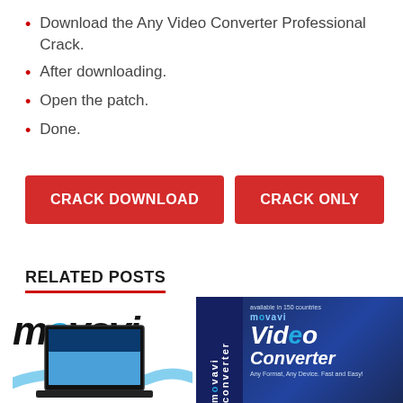Download the Any Video Converter Professional Crack.
After downloading.
Open the patch.
Done.
[Figure (other): Two red buttons labeled CRACK DOWNLOAD and CRACK ONLY]
RELATED POSTS
[Figure (other): Movavi logo on left and Movavi Video Converter product box on right]